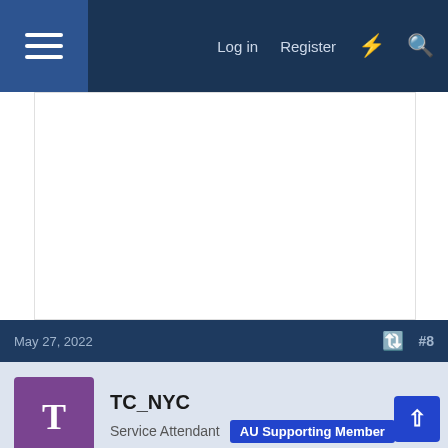Log in   Register
[Figure (other): White advertisement area placeholder]
May 27, 2022   #8
TC_NYC
Service Attendant  AU Supporting Member
It was an absolutely beautiful display that was taken to major cities as well as national train day. When seeing it back in 2011 I was shocked with how much work went into